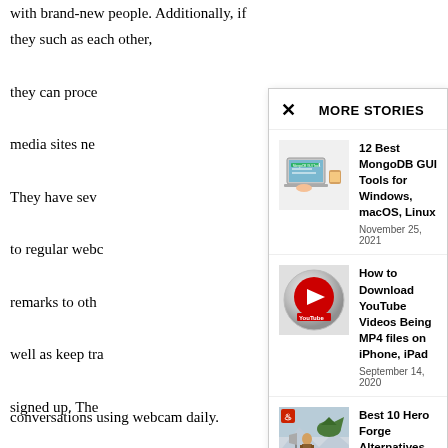with brand-new people. Additionally, if they such as each other, they can proce... media sites ne... They have sev... to regular webc... remarks to oth... well as keep tra... signed up. The... into brand-new... The only nega... enter the chatr... attributes does... system prior to... neighborhood t...
MORE STORIES
[Figure (screenshot): Thumbnail image for MongoDB GUI Tools article showing laptops and MongoDB branding]
12 Best MongoDB GUI Tools for Windows, macOS, Linux
November 25, 2021
[Figure (screenshot): YouTube logo thumbnail - red circle with play button]
How to Download YouTube Videos Being MP4 files on iPhone, iPad
September 14, 2020
[Figure (screenshot): Hero Forge 3D model character illustration - warrior with axe and dragon]
Best 10 Hero Forge Alternatives Full 3D Models in 2020
December 21, 2020
conversations using webcam daily.